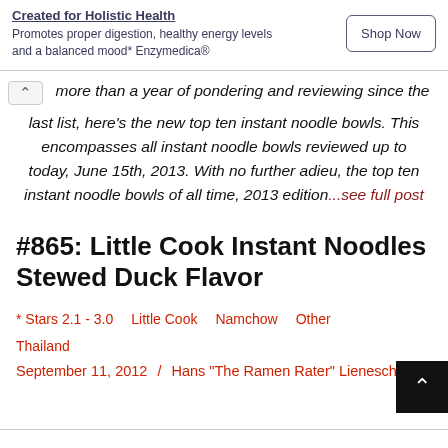[Figure (other): Advertisement banner: 'Created for Holistic Health' with subtitle 'Promotes proper digestion, healthy energy levels and a balanced mood* Enzymedica®' and a 'Shop Now' button]
more than a year of pondering and reviewing since the last list, here's the new top ten instant noodle bowls. This encompasses all instant noodle bowls reviewed up to today, June 15th, 2013. With no further adieu, the top ten instant noodle bowls of all time, 2013 edition...see full post
#865: Little Cook Instant Noodles Stewed Duck Flavor
* Stars 2.1 - 3.0   Little Cook   Namchow   Other
Thailand
September 11, 2012  /  Hans "The Ramen Rater" Lienesch